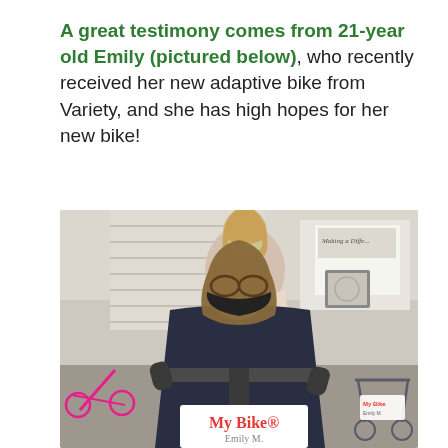A great testimony comes from 21-year old Emily (pictured below), who recently received her new adaptive bike from Variety, and she has high hopes for her new bike!
[Figure (photo): Photo of a young woman wearing a black face mask sitting on an adaptive bike with handlebars, and an older woman behind her wearing a floral face mask, in a room with other adaptive bikes and equipment. A white sign on the bike reads 'My Bike - Emily M'.]